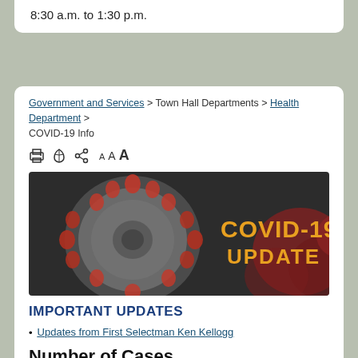8:30 a.m. to 1:30 p.m.
Government and Services > Town Hall Departments > Health Department > COVID-19 Info
[Figure (screenshot): Toolbar icons: print, RSS feed, share, and font size selectors A A A]
[Figure (photo): COVID-19 Update banner image showing coronavirus particles on dark background with orange text reading COVID-19 UPDATE]
IMPORTANT UPDATES
Updates from First Selectman Ken Kellogg
Number of Cases by Connecticut Town for the Past